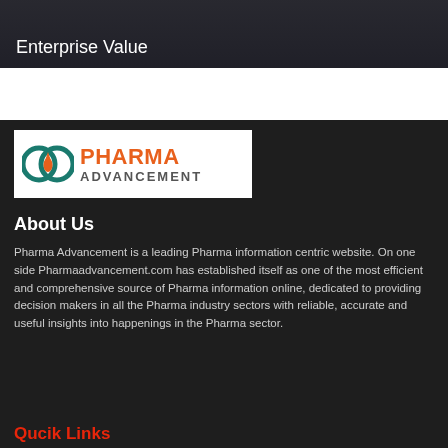Enterprise Value
[Figure (photo): Dark industrial/building background photo overlaid with partial transparency]
[Figure (logo): Pharma Advancement logo with teal circular icon and orange PHARMA text with gray ADVANCEMENT text]
About Us
Pharma Advancement is a leading Pharma information centric website. On one side Pharmaadvancement.com has established itself as one of the most efficient and comprehensive source of Pharma information online, dedicated to providing decision makers in all the Pharma industry sectors with reliable, accurate and useful insights into happenings in the Pharma sector.
Qucik Links